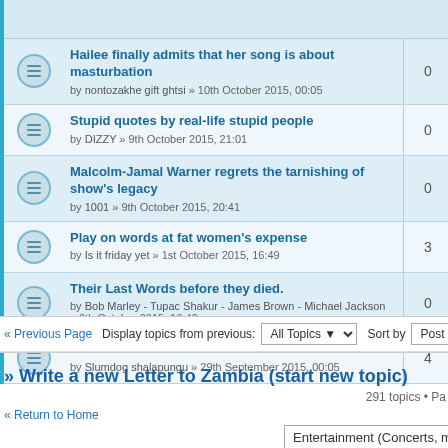Hailee finally admits that her song is about masturbation — by nontozakhe gift ghtsi » 10th October 2015, 00:05 — 0 replies
Stupid quotes by real-life stupid people — by DIZZY » 9th October 2015, 21:01 — 0 replies
Malcolm-Jamal Warner regrets the tarnishing of show's legacy — by 1001 » 9th October 2015, 20:41 — 0 replies
Play on words at fat women's expense — by Is it friday yet » 1st October 2015, 16:49 — 3 replies
Their Last Words before they died. — by Bob Marley - Tupac Shakur - James Brown - Michael Jackson » 9th October 2015, 19:42 — 0 replies
All Blacks are white! — by Slumdog shalapungu » 29th September 2015, 00:05 — 4 replies
« Previous Page   Display topics from previous: All Topics ▾   Sort by Post time
» Write a new Letter to Zambia (start new topic)
291 topics • Pa
« Return to Home
Entertainment (Concerts, musical events, film festival